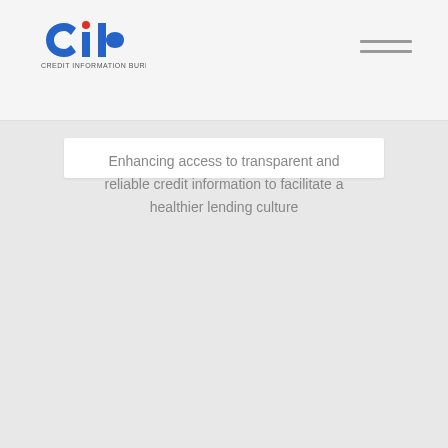[Figure (logo): Credit Information Bureau (CIB) logo with stylized 'cib' letters in blue and red with text 'CREDIT INFORMATION BUREAU' below]
Mission
Enhancing access to transparent and reliable credit information to facilitate a healthier lending culture